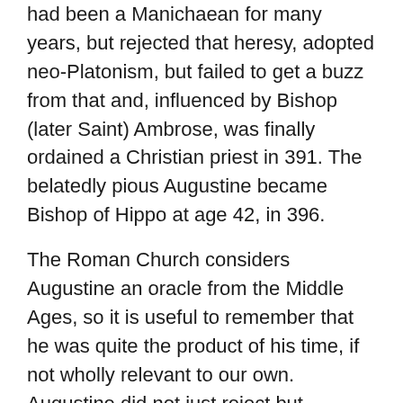had been a Manichaean for many years, but rejected that heresy, adopted neo-Platonism, but failed to get a buzz from that and, influenced by Bishop (later Saint) Ambrose, was finally ordained a Christian priest in 391. The belatedly pious Augustine became Bishop of Hippo at age 42, in 396.
The Roman Church considers Augustine an oracle from the Middle Ages, so it is useful to remember that he was quite the product of his time, if not wholly relevant to our own. Augustine did not just reject but sneered at the claim by the early Roman popes of supremacy over the worldwide church — nevertheless, he supported the Papal policy of persecuting all non-Christians and schismatics; having observed